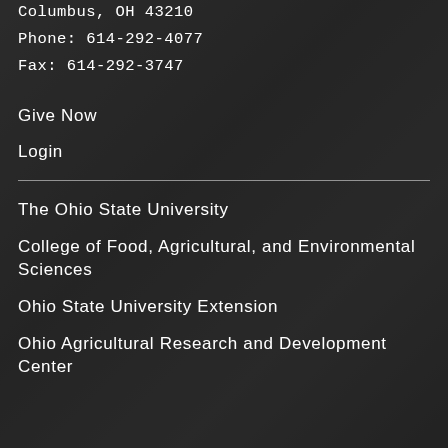Columbus, OH 43210
Phone: 614-292-4077
Fax: 614-292-3747
Give Now
Login
The Ohio State University
College of Food, Agricultural, and Environmental Sciences
Ohio State University Extension
Ohio Agricultural Research and Development Center